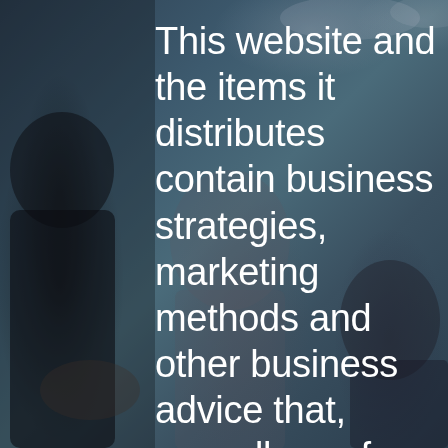[Figure (photo): Background photo of a business meeting scene with people in a dimly lit office, overlaid with a dark blue-gray tone. A man in a dark shirt with a beard is visible on the left, with other blurred figures in the background.]
This website and the items it distributes contain business strategies, marketing methods and other business advice that, regardless of my/our own results and experience, may not produce the same results (or any results) for you. ARVO (and its creators) make absolutely no guarantee, expressed or implied, that by following the advice or content